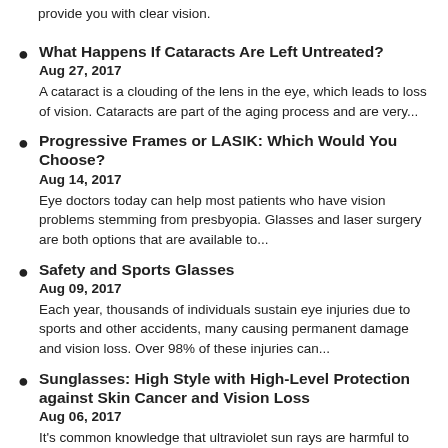provide you with clear vision.
What Happens If Cataracts Are Left Untreated?
Aug 27, 2017
A cataract is a clouding of the lens in the eye, which leads to loss of vision. Cataracts are part of the aging process and are very...
Progressive Frames or LASIK: Which Would You Choose?
Aug 14, 2017
Eye doctors today can help most patients who have vision problems stemming from presbyopia. Glasses and laser surgery are both options that are available to...
Safety and Sports Glasses
Aug 09, 2017
Each year, thousands of individuals sustain eye injuries due to sports and other accidents, many causing permanent damage and vision loss. Over 98% of these injuries can...
Sunglasses: High Style with High-Level Protection against Skin Cancer and Vision Loss
Aug 06, 2017
It's common knowledge that ultraviolet sun rays are harmful to skin